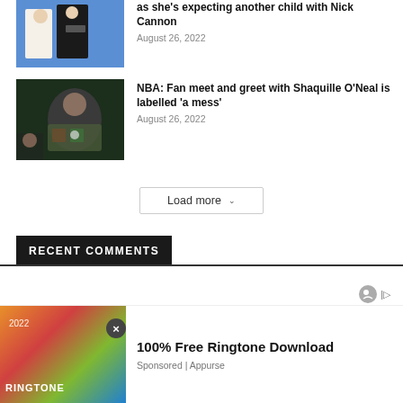[Figure (photo): Photo of people at an event, blue background, white and black outfit]
as she's expecting another child with Nick Cannon
August 26, 2022
[Figure (photo): Photo of Shaquille O'Neal at an NBA event in colorful shirt]
NBA: Fan meet and greet with Shaquille O'Neal is labelled 'a mess'
August 26, 2022
Load more
RECENT COMMENTS
[Figure (infographic): Ad banner: 100% Free Ringtone Download - 2022 Ringtone - Sponsored by Appurse]